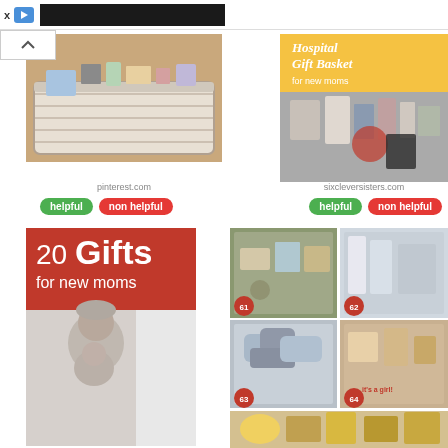[Figure (screenshot): Ad banner with X button, play button, and dark image block]
[Figure (photo): White wicker basket filled with various items on a wooden surface]
[Figure (photo): Hospital Gift Basket for new moms - yellow banner with cursive text and photo of gift items]
pinterest.com
sixcleversisters.com
[Figure (infographic): helpful button (green) and non helpful button (red) for pinterest.com result]
[Figure (infographic): helpful button (green) and non helpful button (red) for sixcleversisters.com result]
[Figure (photo): 20 Gifts for new moms - red banner text over photo of mother holding baby]
[Figure (photo): Collage of 4 gift basket photos numbered 61, 62, 63, 64 plus partial 65]